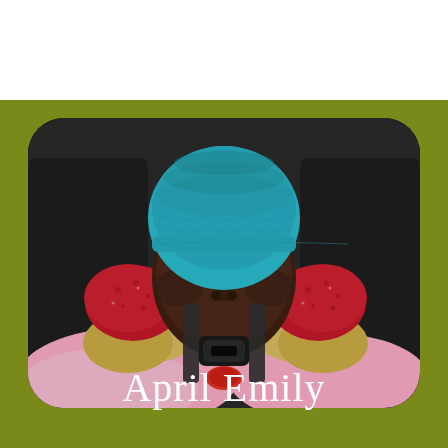[Figure (photo): A newborn baby sleeping in a car seat, wearing a teal/turquoise knitted hat and red floral mittens, wrapped in a pink blanket. The background is olive/army green with a rounded rectangle photo frame.]
April Emily
Birth announcement subtitle (partially visible)